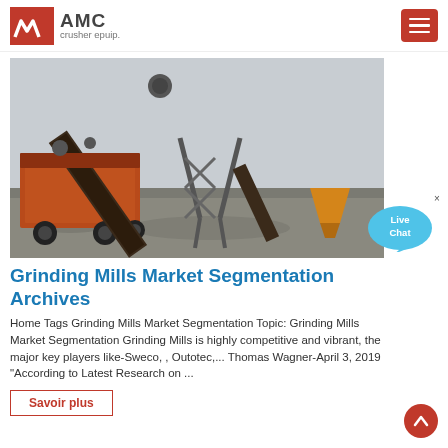AMC crusher epuip.
[Figure (photo): Industrial crusher/conveyor equipment on a job site — large orange mobile crushing plant with belt conveyors, material stockpile and a yellow hopper in the background, overcast sky.]
Grinding Mills Market Segmentation Archives
Home Tags Grinding Mills Market Segmentation Topic: Grinding Mills Market Segmentation Grinding Mills is highly competitive and vibrant, the major key players like-Sweco, , Outotec,... Thomas Wagner-April 3, 2019 "According to Latest Research on ...
Savoir plus